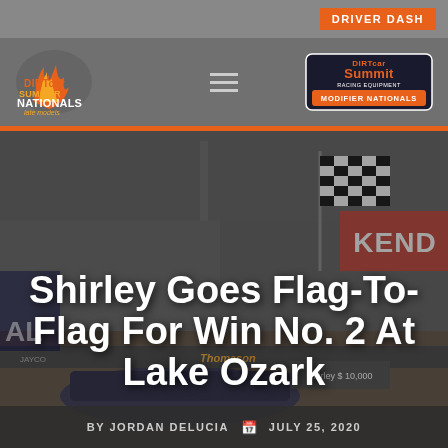DRIVER DASH
[Figure (logo): DIRTcar Summer Nationals Late Models logo (left) and DIRTcar Summit Racing Equipment Modifier Nationals logo (right) in navigation bar]
[Figure (photo): Racing victory lane scene with checkered flag being waved, KENDA banner visible in background, race car and celebration in foreground]
Shirley Goes Flag-To-Flag For Win No. 2 At Lake Ozark
BY JORDAN DELUCIA   JULY 25, 2020